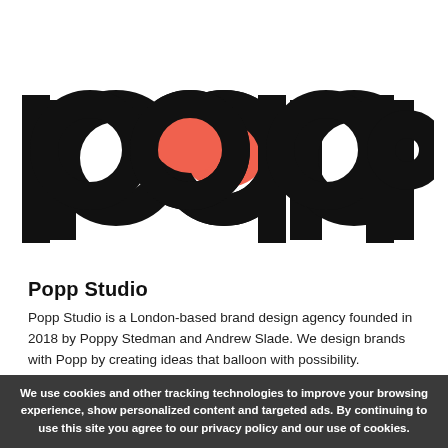[Figure (logo): Popp Studio logo: the word 'popp' in large bold black lowercase letters, with a coral/salmon-colored filled circle replacing the counter (hole) of the first 'o']
Popp Studio
Popp Studio is a London-based brand design agency founded in 2018 by Poppy Stedman and Andrew Slade. We design brands with Popp by creating ideas that balloon with possibility.
London, United Kingdom
We use cookies and other tracking technologies to improve your browsing experience, show personalized content and targeted ads. By continuing to use this site you agree to our privacy policy and our use of cookies.